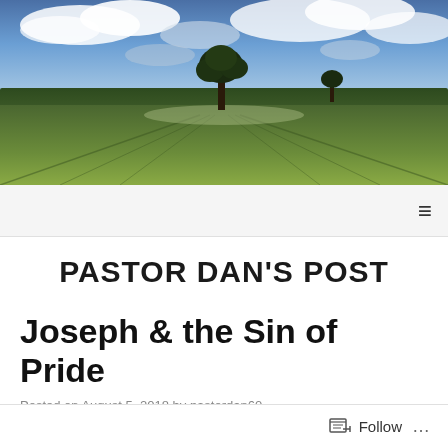[Figure (photo): Panoramic landscape photo showing a lone tree in a green field under a dramatic blue sky with clouds]
PASTOR DAN'S POST
Joseph & the Sin of Pride
Posted on August 5, 2018 by pastordan60